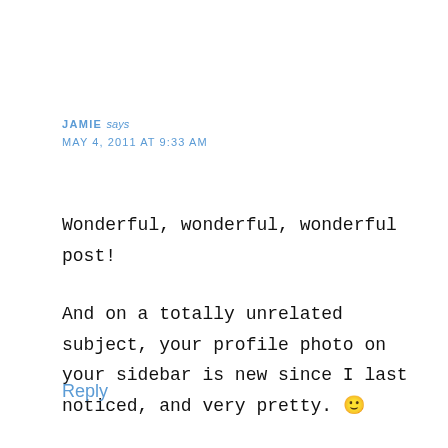JAMIE says
MAY 4, 2011 AT 9:33 AM
Wonderful, wonderful, wonderful post!

And on a totally unrelated subject, your profile photo on your sidebar is new since I last noticed, and very pretty. 🙂
Reply